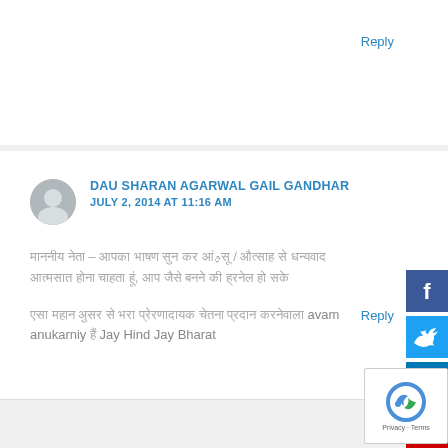Reply
DAU SHARAN AGARWAL GAIL GANDHAR
JULY 2, 2014 AT 11:16 AM
[Hindi text] – [Hindi text] [Hindi text] [Hindi text] / [Hindi text] [Hindi text] [Hindi text] [Hindi text] [Hindi text] [Hindi text], [Hindi text] [Hindi text] [Hindi text] [Hindi text] [Hindi text] avam anukarniy [Hindi] Jay Hind Jay Bharat
Reply